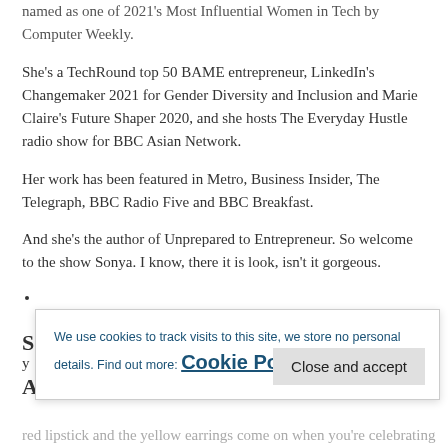named as one of 2021's Most Influential Women in Tech by Computer Weekly.
She’s a TechRound top 50 BAME entrepreneur, LinkedIn’s Changemaker 2021 for Gender Diversity and Inclusion and Marie Claire’s Future Shaper 2020, and she hosts The Everyday Hustle radio show for BBC Asian Network.
Her work has been featured in Metro, Business Insider, The Telegraph, BBC Radio Five and BBC Breakfast.
And she’s the author of Unprepared to Entrepreneur. So welcome to the show Sonya. I know, there it is look, isn’t it gorgeous.
•
S[partially visible text]
We use cookies to track visits to this site, we store no personal details. Find out more: Cookie Policy
A[partially visible text]
red lipstick and the yellow earrings come on when you’re celebrating